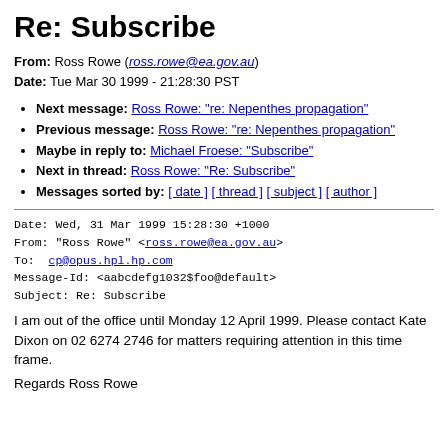Re: Subscribe
From: Ross Rowe (ross.rowe@ea.gov.au)
Date: Tue Mar 30 1999 - 21:28:30 PST
Next message: Ross Rowe: "re: Nepenthes propagation"
Previous message: Ross Rowe: "re: Nepenthes propagation"
Maybe in reply to: Michael Froese: "Subscribe"
Next in thread: Ross Rowe: "Re: Subscribe"
Messages sorted by: [ date ] [ thread ] [ subject ] [ author ]
Date: Wed, 31 Mar 1999 15:28:30 +1000
From: "Ross Rowe" <ross.rowe@ea.gov.au>
To: cp@opus.hpl.hp.com
Message-Id: <aabcdefg1032$foo@default>
Subject: Re: Subscribe
I am out of the office until Monday 12 April 1999. Please contact Kate Dixon on 02 6274 2746 for matters requiring attention in this time frame.
Regards Ross Rowe